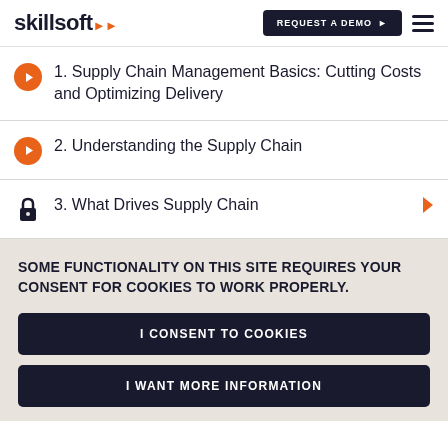skillsoft — REQUEST A DEMO
1. Supply Chain Management Basics: Cutting Costs and Optimizing Delivery
2. Understanding the Supply Chain
3. What Drives Supply Chain
SOME FUNCTIONALITY ON THIS SITE REQUIRES YOUR CONSENT FOR COOKIES TO WORK PROPERLY.
I CONSENT TO COOKIES
I WANT MORE INFORMATION